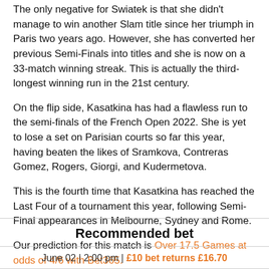The only negative for Swiatek is that she didn't manage to win another Slam title since her triumph in Paris two years ago. However, she has converted her previous Semi-Finals into titles and she is now on a 33-match winning streak. This is actually the third-longest winning run in the 21st century.
On the flip side, Kasatkina has had a flawless run to the semi-finals of the French Open 2022. She is yet to lose a set on Parisian courts so far this year, having beaten the likes of Sramkova, Contreras Gomez, Rogers, Giorgi, and Kudermetova.
This is the fourth time that Kasatkina has reached the Last Four of a tournament this year, following Semi-Final appearances in Melbourne, Sydney and Rome.
Our prediction for this match is Over 17.5 Games at odds of 4/6 with Bet365.
Recommended bet
June 02 | 2:00 pm | £10 bet returns £16.70